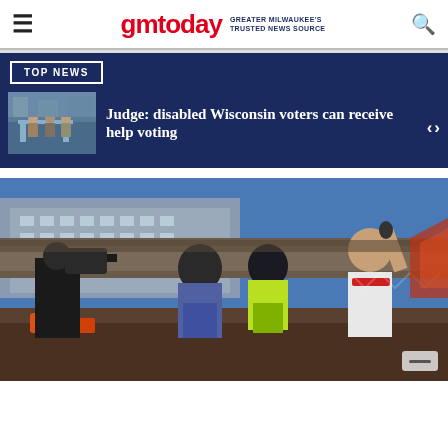gmtoday GREATER MILWAUKEE'S TRUSTED NEWS SOURCE
TOP NEWS
Judge: disabled Wisconsin voters can receive help voting
[Figure (photo): Motocross riders and event host at an outdoor stadium event, with a cameraman filming in the foreground. Riders wear helmets and colorful gear, one man holds a microphone wearing a 'Nitro Circus' shirt.]